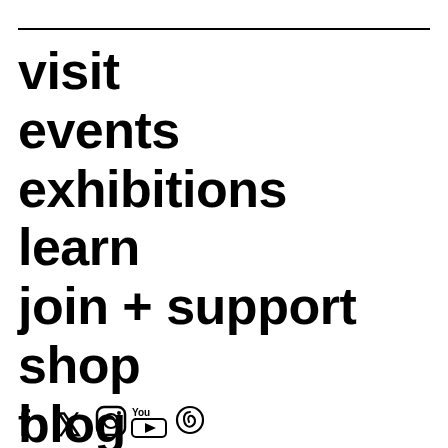visit
events
exhibitions
learn
join + support
shop
blog
[Figure (illustration): Social media icons: Facebook, Twitter, Instagram, YouTube, and another icon]